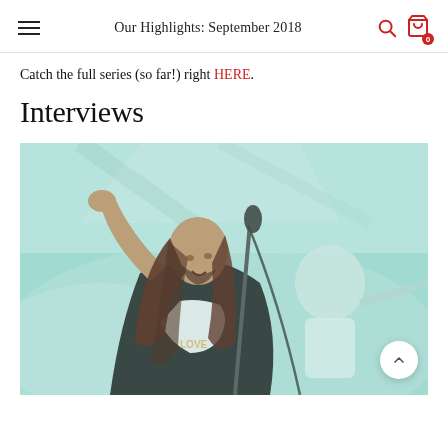Our Highlights: September 2018
Catch the full series (so far!) right HERE.
Interviews
[Figure (photo): A long-haired male vocalist performing on stage, singing into a microphone while holding his hair back with one hand. The stage is lit with teal/cyan haze. A second musician is visible in the background playing guitar.]